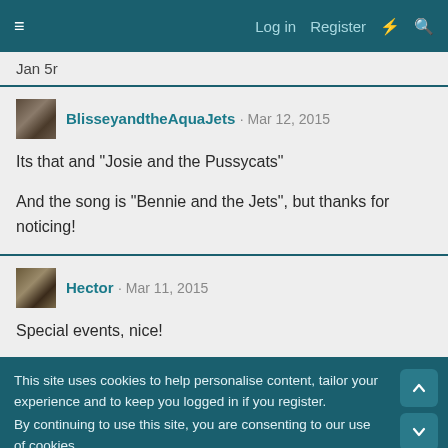≡  Log in  Register
Jan 5r
BlisseyandtheAquaJets · Mar 12, 2015
Its that and "Josie and the Pussycats"

And the song is "Bennie and the Jets", but thanks for noticing!
Hector · Mar 11, 2015
Special events, nice!
This site uses cookies to help personalise content, tailor your experience and to keep you logged in if you register.
By continuing to use this site, you are consenting to our use of cookies.
✓ Accept   Learn more...